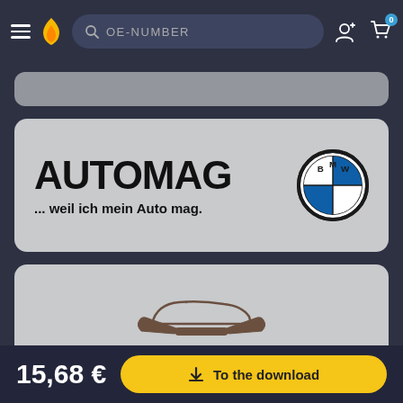[Figure (screenshot): Navigation bar with hamburger menu, flame logo, OE-NUMBER search bar, user icon, and cart icon with badge 0]
[Figure (logo): Partially visible card at top (grey rounded card, partially cropped)]
[Figure (logo): AUTOMAG card with bold text 'AUTOMAG', subtitle '... weil ich mein Auto mag.' and BMW logo on grey rounded card background]
[Figure (logo): KFZ-VERLAG card with car+wrench logo, 'KFZ-VERLAG' text, and tagline 'Ihr Spezialist für KFZ-spezifische Literatur' on grey rounded card background]
15,68 €
To the download